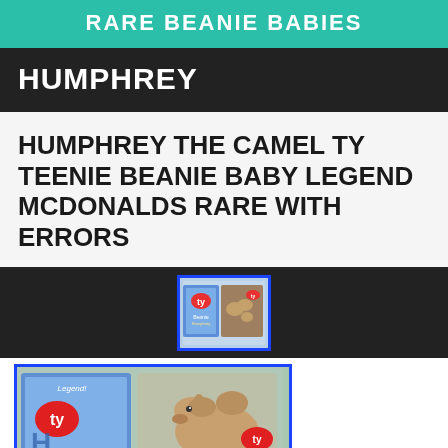RARE BEANIE BABIES
HUMPHREY
HUMPHREY THE CAMEL TY TEENIE BEANIE BABY LEGEND MCDONALDS RARE WITH ERRORS
[Figure (photo): Small product photo of Ty Teenie Beanie Baby Humphrey the camel in packaging, with blue border]
[Figure (photo): Larger photo of Humphrey the Camel Ty Teenie Beanie Baby Legend McDonalds packaging with camel plush visible, blue bordered image]